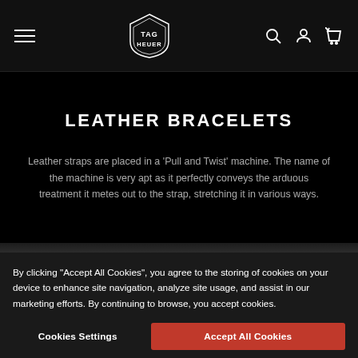TAG HEUER navigation bar with hamburger menu, logo, search, account, and cart icons
LEATHER BRACELETS
Leather straps are placed in a ‘Pull and Twist’ machine. The name of the machine is very apt as it perfectly conveys the arduous treatment it metes out to the strap, stretching it in various ways.
By clicking “Accept All Cookies”, you agree to the storing of cookies on your device to enhance site navigation, analyze site usage, and assist in our marketing efforts. By continuing to browse, you accept cookies.
Cookies Settings
Accept All Cookies